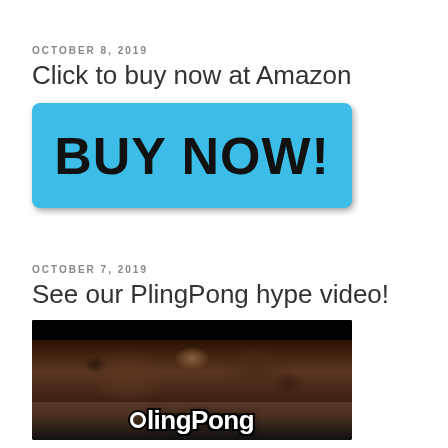OCTOBER 8, 2019
Click to buy now at Amazon
[Figure (other): Cyan/blue 'BUY NOW!' button with bold black text on a rounded rectangle background]
OCTOBER 7, 2019
See our PlingPong hype video!
[Figure (photo): Video thumbnail with dark background showing crowd scene and PlingPong logo at bottom]